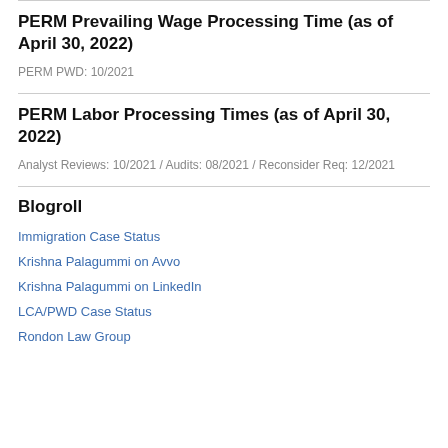PERM Prevailing Wage Processing Time (as of April 30, 2022)
PERM PWD: 10/2021
PERM Labor Processing Times (as of April 30, 2022)
Analyst Reviews: 10/2021 / Audits: 08/2021 / Reconsider Req: 12/2021
Blogroll
Immigration Case Status
Krishna Palagummi on Avvo
Krishna Palagummi on LinkedIn
LCA/PWD Case Status
Rondon Law Group